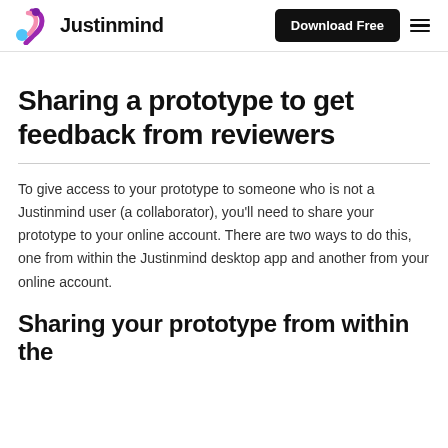Justinmind | Download Free
Sharing a prototype to get feedback from reviewers
To give access to your prototype to someone who is not a Justinmind user (a collaborator), you'll need to share your prototype to your online account. There are two ways to do this, one from within the Justinmind desktop app and another from your online account.
Sharing your prototype from within the